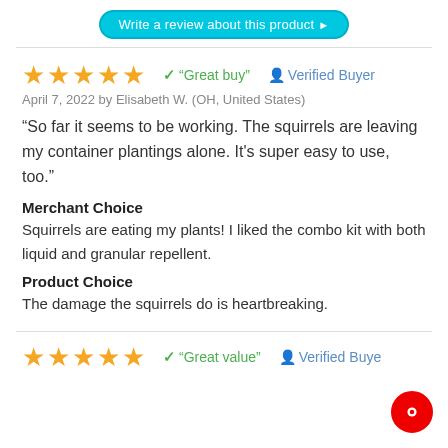Write a review about this product ▶
★★★★★  ✓ "Great buy"  👤 Verified Buyer
April 7, 2022 by Elisabeth W. (OH, United States)
“So far it seems to be working. The squirrels are leaving my container plantings alone. It's super easy to use, too.”
Merchant Choice
Squirrels are eating my plants! I liked the combo kit with both liquid and granular repellent.
Product Choice
The damage the squirrels do is heartbreaking.
★★★★★  ✓ "Great value"  👤 Verified Buyer